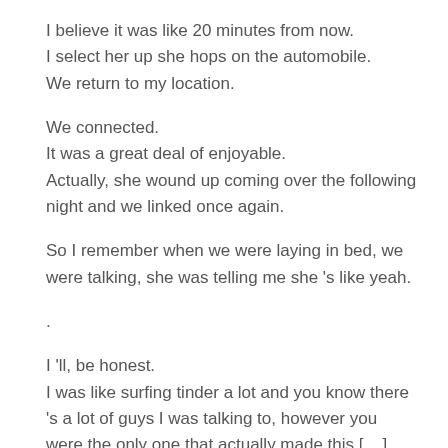I believe it was like 20 minutes from now.
I select her up she hops on the automobile.
We return to my location.
We connected.
It was a great deal of enjoyable.
Actually, she wound up coming over the following night and we linked once again.
So I remember when we were laying in bed, we were talking, she was telling me she 's like yeah.
.
I 'll, be honest.
I was like surfing tinder a lot and you know there 's a lot of guys I was talking to, however you were the only one that actually made this [__] take place, which is why I socialized with you over all